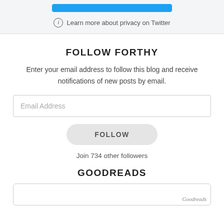[Figure (screenshot): Top blue button (Twitter follow) and privacy info link on light gray background]
Learn more about privacy on Twitter
FOLLOW FORTHY
Enter your email address to follow this blog and receive notifications of new posts by email.
Email Address
FOLLOW
Join 734 other followers
GOODREADS